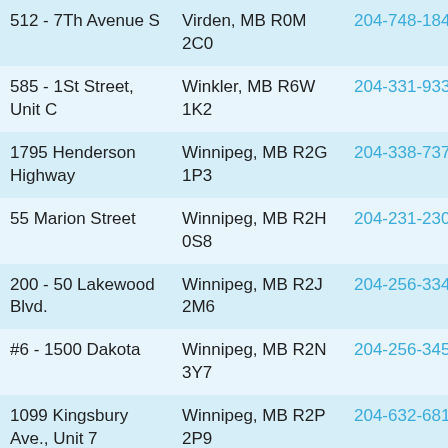| Street Address | City/Province/Postal | Phone |
| --- | --- | --- |
| 512 - 7Th Avenue S | Virden, MB R0M 2C0 | 204-748-1844 |
| 585 - 1St Street, Unit C | Winkler, MB R6W 1K2 | 204-331-9333 |
| 1795 Henderson Highway | Winnipeg, MB R2G 1P3 | 204-338-7373 |
| 55 Marion Street | Winnipeg, MB R2H 0S8 | 204-231-2300 |
| 200 - 50 Lakewood Blvd. | Winnipeg, MB R2J 2M6 | 204-256-3347 |
| #6 - 1500 Dakota | Winnipeg, MB R2N 3Y7 | 204-256-3456 |
| 1099 Kingsbury Ave., Unit 7 | Winnipeg, MB R2P 2P9 | 204-632-6819 |
| Unit 8 - 2727 Portage Ave | Winnipeg, MB R3J 0R2 | 204-888-9833 |